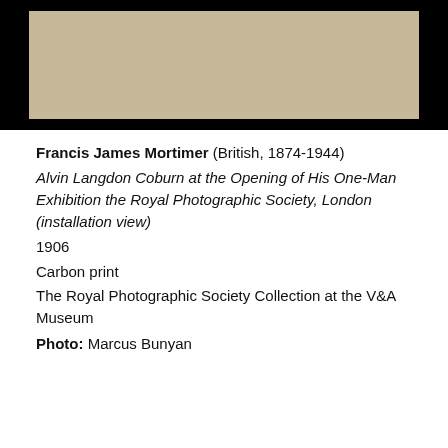[Figure (photo): Partial view of a framed photograph with black border and tan/beige interior, showing the bottom portion of a mounted artwork]
Francis James Mortimer (British, 1874-1944)
Alvin Langdon Coburn at the Opening of His One-Man Exhibition the Royal Photographic Society, London (installation view)
1906
Carbon print
The Royal Photographic Society Collection at the V&A Museum
Photo: Marcus Bunyan